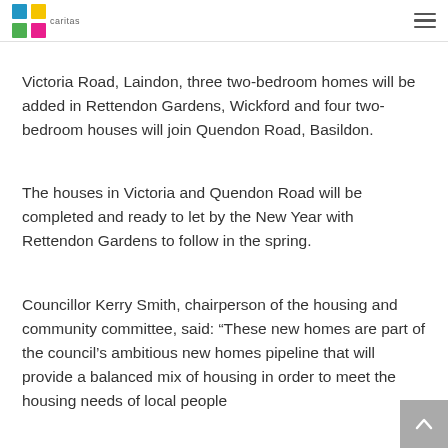Caritas
Victoria Road, Laindon, three two-bedroom homes will be added in Rettendon Gardens, Wickford and four two-bedroom houses will join Quendon Road, Basildon.
The houses in Victoria and Quendon Road will be completed and ready to let by the New Year with Rettendon Gardens to follow in the spring.
Councillor Kerry Smith, chairperson of the housing and community committee, said: “These new homes are part of the council’s ambitious new homes pipeline that will provide a balanced mix of housing in order to meet the housing needs of local people